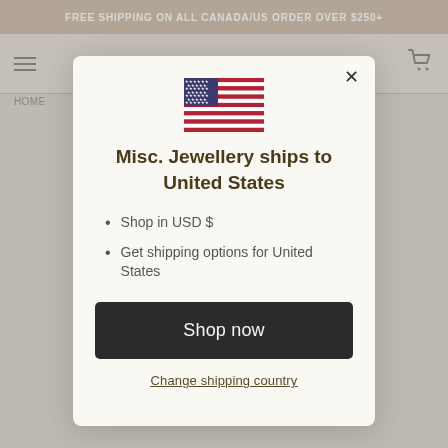FREE SHIPPING ON ALL CANADA/US ORDER OVER $250+
[Figure (screenshot): Navigation bar with hamburger menu icon on left and cart icon on right]
HOME
[Figure (illustration): United States flag emoji/icon]
Misc. Jewellery ships to United States
Shop in USD $
Get shipping options for United States
Shop now
Change shipping country